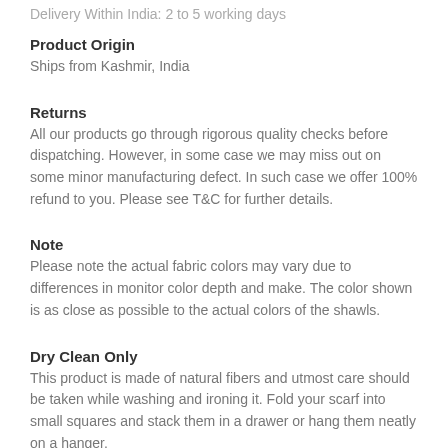Delivery Within India: 2 to 5 working days
Product Origin
Ships from Kashmir, India
Returns
All our products go through rigorous quality checks before dispatching. However, in some case we may miss out on some minor manufacturing defect. In such case we offer 100% refund to you. Please see T&C for further details.
Note
Please note the actual fabric colors may vary due to differences in monitor color depth and make. The color shown is as close as possible to the actual colors of the shawls.
Dry Clean Only
This product is made of natural fibers and utmost care should be taken while washing and ironing it. Fold your scarf into small squares and stack them in a drawer or hang them neatly on a hanger.